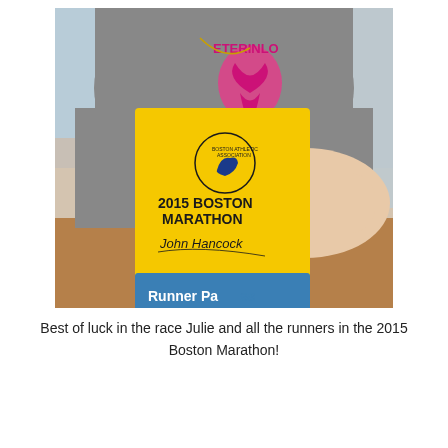[Figure (photo): A person wearing a gray t-shirt with pink ribbon graphic (veterinarian related text) holding a yellow 2015 Boston Marathon Runner Pass booklet with John Hancock signature and Boston Athletic Association logo, sitting at a wooden table.]
Best of luck in the race Julie and all the runners in the 2015 Boston Marathon!